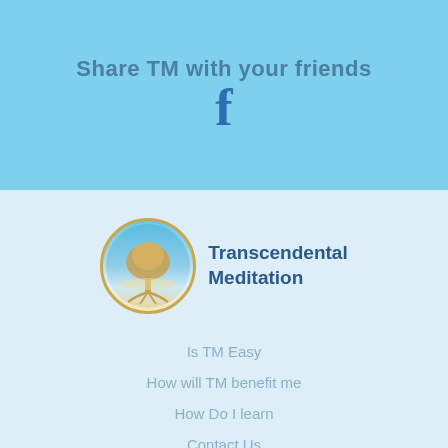Share TM with your friends
[Figure (logo): Facebook logo icon (letter f) in blue]
[Figure (logo): Transcendental Meditation circular logo with golden tree, blue background, with text 'Transcendental Meditation']
Is TM Easy
How will TM benefit me
How Do I learn
Contact Us